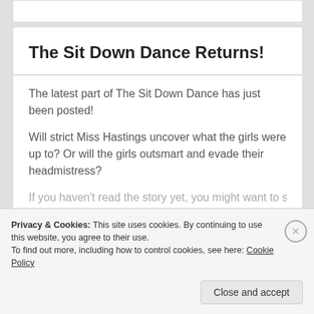The Sit Down Dance Returns!
The latest part of The Sit Down Dance has just been posted!
Will strict Miss Hastings uncover what the girls were up to? Or will the girls outsmart and evade their headmistress?
Privacy & Cookies: This site uses cookies. By continuing to use this website, you agree to their use.
To find out more, including how to control cookies, see here: Cookie Policy
Close and accept